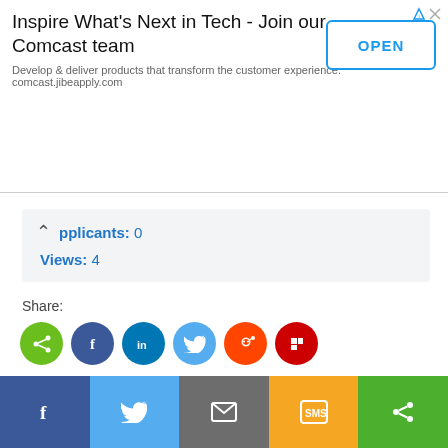[Figure (screenshot): Comcast advertisement banner: 'Inspire What's Next in Tech - Join our Comcast team' with OPEN button and tagline about comcast.jibeapply.com]
pplicants: 0
Views: 4
Share:
[Figure (infographic): Row of social sharing icons: green share, Facebook, LinkedIn, Twitter, Reddit, Flipboard]
[Figure (infographic): Green rounded button: Refer $50]
[Figure (infographic): White bordered button: Save job]
[Figure (infographic): Bottom share bar with Facebook, Twitter, Email, SMS, Share buttons]